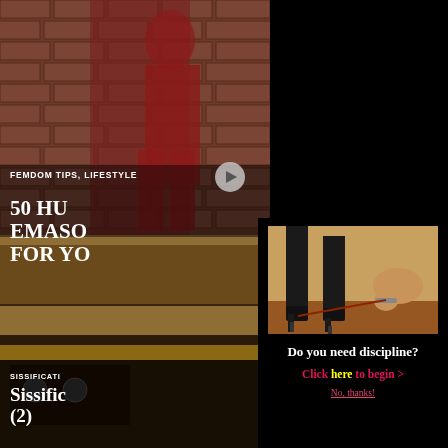[Figure (photo): Background blog page with brick wall photo at top and kitchen photo at bottom, partially obscured by popup overlay]
FEMDOM TIPS, LIFESTYLE
50 HU... EMASO... FOR YO...
[Figure (photo): Popup overlay showing photo of person in high boots with another person bowing on floor with collar and leash]
Do you need discipline?
Click here to begin >
No, thanks!
SISSIFICATI...
Sissific... (2)